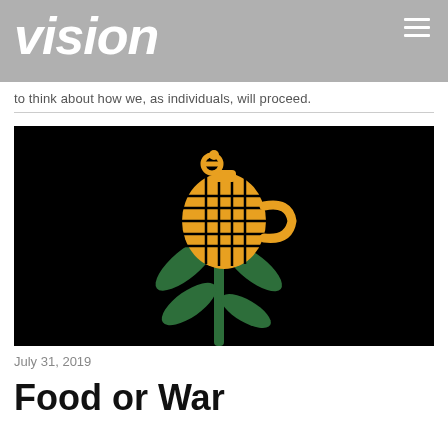vision
to think about how we, as individuals, will proceed.
[Figure (illustration): Black background image showing a corn plant with a hand grenade as the corn ear, rendered in gold/orange and dark green colors — symbolizing the concept of food vs war.]
July 31, 2019
Food or War